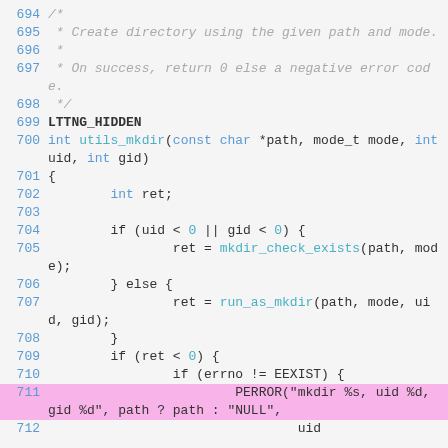Code listing lines 694–712: C source code showing utils_mkdir function with comments, function signature, and body including conditional logic for mkdir_check_exists and run_as_mkdir calls.